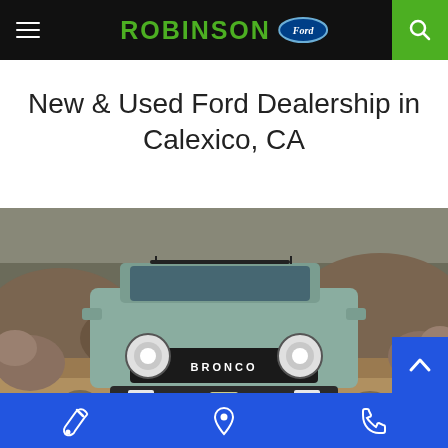Robinson Ford — Navigation header with menu, logo, and search
New & Used Ford Dealership in Calexico, CA
[Figure (photo): Front view of a Ford Bronco SUV driving on a rocky desert trail, with boulders and cloudy sky in the background]
Bottom navigation bar with wrench (service), location pin (map), and phone icons